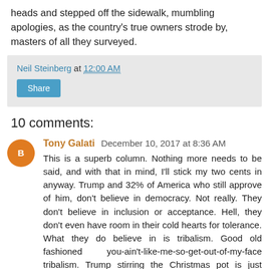heads and stepped off the sidewalk, mumbling apologies, as the country's true owners strode by, masters of all they surveyed.
Neil Steinberg at 12:00 AM
Share
10 comments:
Tony Galati  December 10, 2017 at 8:36 AM
This is a superb column. Nothing more needs to be said, and with that in mind, I'll stick my two cents in anyway. Trump and 32% of America who still approve of him, don't believe in democracy. Not really. They don't believe in inclusion or acceptance. Hell, they don't even have room in their cold hearts for tolerance. What they do believe in is tribalism. Good old fashioned you-ain't-like-me-so-get-out-of-my-face tribalism. Trump stirring the Christmas pot is just Trump feeding red meat to his alarmingly ignorant tribe. It's easy to look the other way and just label Trump's actions as